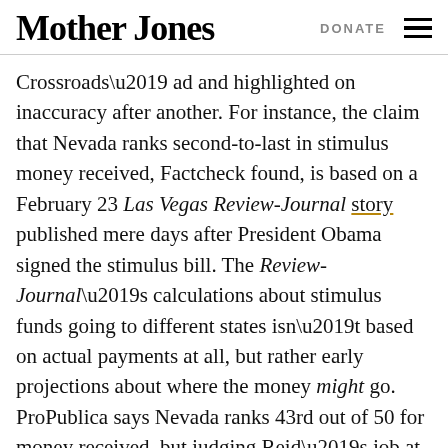Mother Jones  DONATE
Crossroads’ ad and highlighted on inaccuracy after another. For instance, the claim that Nevada ranks second-to-last in stimulus money received, Factcheck found, is based on a February 23 Las Vegas Review-Journal story published mere days after President Obama signed the stimulus bill. The Review-Journal’s calculations about stimulus funds going to different states isn’t based on actual payments at all, but rather early projections about where the money might go. ProPublica says Nevada ranks 43rd out of 50 for money received, but judging Reid’s job at bringing home stimulus money is more complex than that: